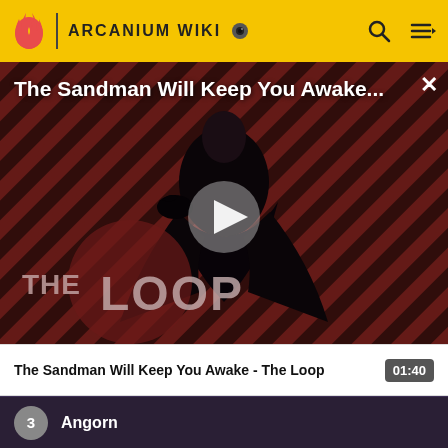ARCANIUM WIKI
[Figure (screenshot): Video thumbnail showing a dark-robed figure with a crow against a red/black diagonal striped background with THE LOOP logo overlay and a white play button in the center]
The Sandman Will Keep You Awake...
The Sandman Will Keep You Awake - The Loop  01:40
3  Angorn